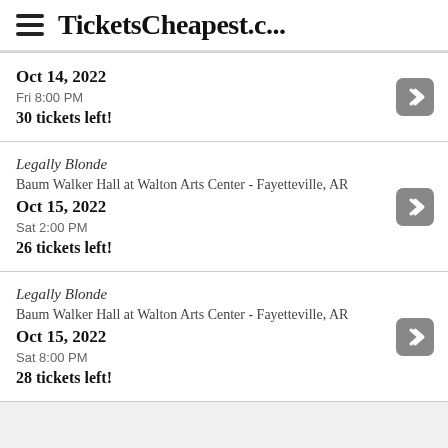TicketsCheapest.c...
Oct 14, 2022
Fri 8:00 PM
30 tickets left!
Legally Blonde
Baum Walker Hall at Walton Arts Center - Fayetteville, AR
Oct 15, 2022
Sat 2:00 PM
26 tickets left!
Legally Blonde
Baum Walker Hall at Walton Arts Center - Fayetteville, AR
Oct 15, 2022
Sat 8:00 PM
28 tickets left!